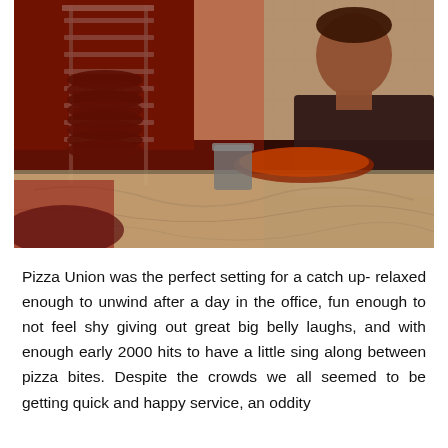[Figure (photo): A pizza restaurant kitchen scene bathed in red light. A man in a black t-shirt stands behind a counter preparing pizzas. A wire rack holding stacked pizza pans is visible on the left. The marble counter surface is visible in the foreground.]
Pizza Union was the perfect setting for a catch up- relaxed enough to unwind after a day in the office, fun enough to not feel shy giving out great big belly laughs, and with enough early 2000 hits to have a little sing along between pizza bites. Despite the crowds we all seemed to be getting quick and happy service, an oddity